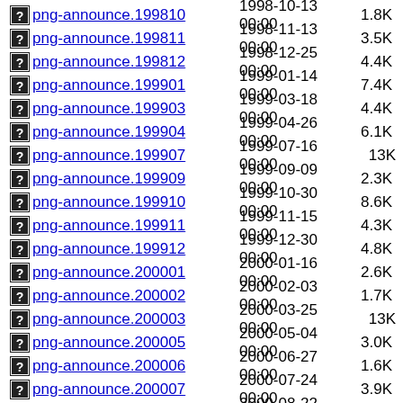png-announce.199810  1998-10-13 00:00  1.8K
png-announce.199811  1998-11-13 00:00  3.5K
png-announce.199812  1998-12-25 00:00  4.4K
png-announce.199901  1999-01-14 00:00  7.4K
png-announce.199903  1999-03-18 00:00  4.4K
png-announce.199904  1999-04-26 00:00  6.1K
png-announce.199907  1999-07-16 00:00  13K
png-announce.199909  1999-09-09 00:00  2.3K
png-announce.199910  1999-10-30 00:00  8.6K
png-announce.199911  1999-11-15 00:00  4.3K
png-announce.199912  1999-12-30 00:00  4.8K
png-announce.200001  2000-01-16 00:00  2.6K
png-announce.200002  2000-02-03 00:00  1.7K
png-announce.200003  2000-03-25 00:00  13K
png-announce.200005  2000-05-04 00:00  3.0K
png-announce.200006  2000-06-27 00:00  1.6K
png-announce.200007  2000-07-24 00:00  3.9K
png-announce.200008  2000-08-22 00:00  2.2K